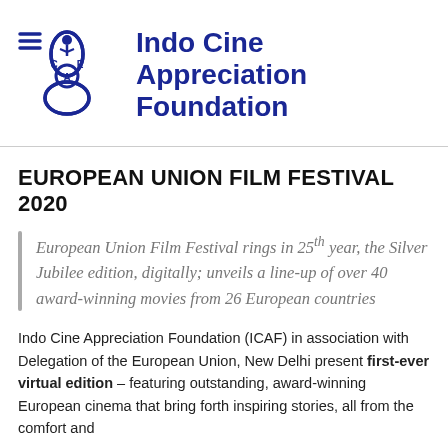Indo Cine Appreciation Foundation
EUROPEAN UNION FILM FESTIVAL 2020
European Union Film Festival rings in 25th year, the Silver Jubilee edition, digitally; unveils a line-up of over 40 award-winning movies from 26 European countries
Indo Cine Appreciation Foundation (ICAF) in association with Delegation of the European Union, New Delhi present first-ever virtual edition – featuring outstanding, award-winning European cinema that bring forth inspiring stories, all from the comfort and